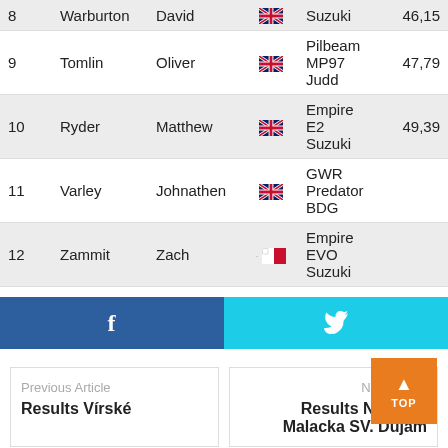| # | Last | First | Flag | Car | Time |
| --- | --- | --- | --- | --- | --- |
| 8 | Warburton | David | UK | Suzuki | 46,15 |
| 9 | Tomlin | Oliver | UK | Pilbeam MP97 Judd | 47,79 |
| 10 | Ryder | Matthew | UK | Empire E2 Suzuki | 49,39 |
| 11 | Varley | Johnathen | UK | GWR Predator BDG |  |
| 12 | Zammit | Zach | MT | Empire EVO Suzuki |  |
[Figure (other): Facebook share button (dark blue) and Twitter share button (cyan) side by side]
Previous Article
Results Vírské
Next Article
Results Nagrada Malacka SV. Dujam